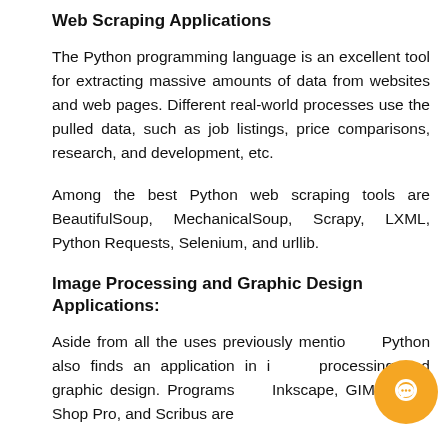Web Scraping Applications
The Python programming language is an excellent tool for extracting massive amounts of data from websites and web pages. Different real-world processes use the pulled data, such as job listings, price comparisons, research, and development, etc.
Among the best Python web scraping tools are BeautifulSoup, MechanicalSoup, Scrapy, LXML, Python Requests, Selenium, and urllib.
Image Processing and Graphic Design Applications:
Aside from all the uses previously mentioned, Python also finds an application in image processing and graphic design. Programs like Inkscape, GIMP, Paint Shop Pro, and Scribus are